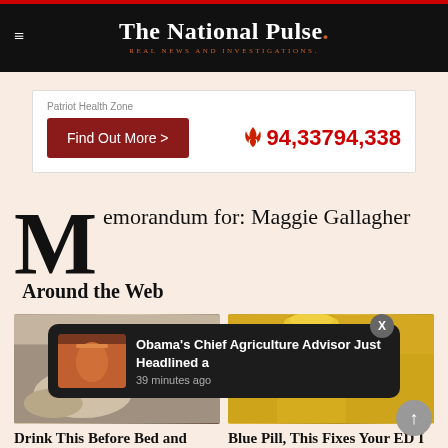The National Pulse. REAL NEWS AND INVESTIGATIONS.
Patriot Health Zone
Find Out More >
🔥 94,33794,338
Memorandum for: Maggie Gallagher
Around the Web
[Figure (photo): Left article card image showing hands with a jar and spoon]
Drink This Before Bed and Drop Body Weight Like Crazy
[Figure (photo): Right article card image showing liquid being poured from a bottle]
Blue Pill, This Fixes Your ED I
Obama's Chief Agriculture Advisor Just Headlined a
39 minutes ago